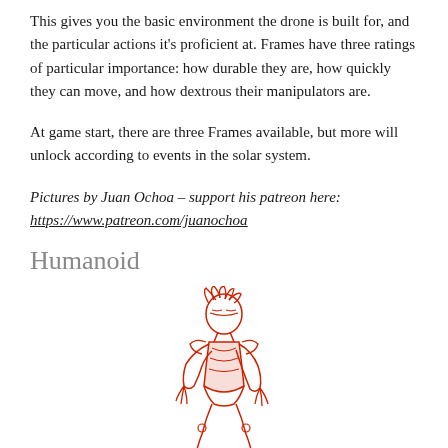This gives you the basic environment the drone is built for, and the particular actions it's proficient at. Frames have three ratings of particular importance: how durable they are, how quickly they can move, and how dextrous their manipulators are.
At game start, there are three Frames available, but more will unlock according to events in the solar system.
Pictures by Juan Ochoa – support his patreon here: https://www.patreon.com/juanochoa
Humanoid
[Figure (illustration): Red ink illustration of a humanoid drone/robot figure in a crouched or dynamic pose, drawn in a detailed comic/RPG art style.]